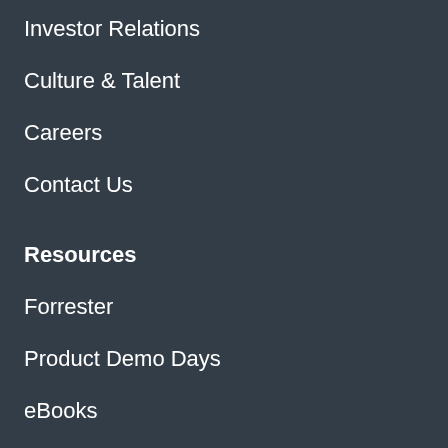Investor Relations
Culture & Talent
Careers
Contact Us
Resources
Forrester
Product Demo Days
eBooks
Events
Blog
Unified-CXM Guide